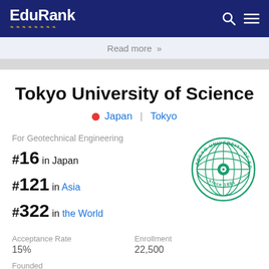EduRank
Read more »
Tokyo University of Science
Japan | Tokyo
For Geotechnical Engineering
#16 in Japan
#121 in Asia
#322 in the World
[Figure (logo): Tokyo University of Science circular seal logo in green, with globe/atom design, text 'TOKYO UNIVERSITY OF SCIENCE since 1881']
Acceptance Rate
15%
Enrollment
22,500
Founded